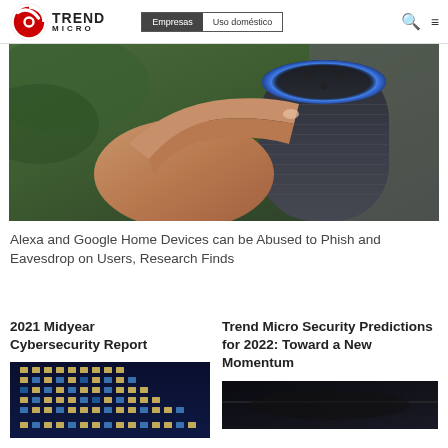Trend Micro — Empresas | Uso doméstico
[Figure (photo): Close-up of a hand pointing a finger at an Amazon Echo (Alexa) smart speaker device with blue ring light, green blurred background]
Alexa and Google Home Devices can be Abused to Phish and Eavesdrop on Users, Research Finds
2021 Midyear Cybersecurity Report
[Figure (photo): Office building exterior at night with lit windows showing blue tones]
Trend Micro Security Predictions for 2022: Toward a New Momentum
[Figure (photo): Dark abstract image, partially visible]